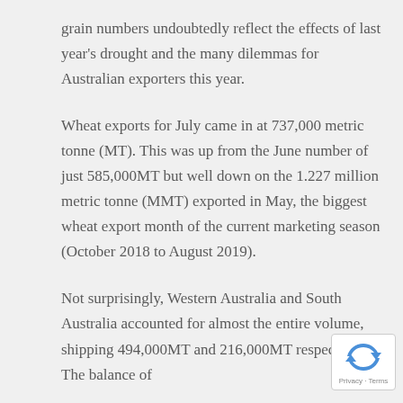grain numbers undoubtedly reflect the effects of last year's drought and the many dilemmas for Australian exporters this year.
Wheat exports for July came in at 737,000 metric tonne (MT). This was up from the June number of just 585,000MT but well down on the 1.227 million metric tonne (MMT) exported in May, the biggest wheat export month of the current marketing season (October 2018 to August 2019).
Not surprisingly, Western Australia and South Australia accounted for almost the entire volume, shipping 494,000MT and 216,000MT respectively. The balance of